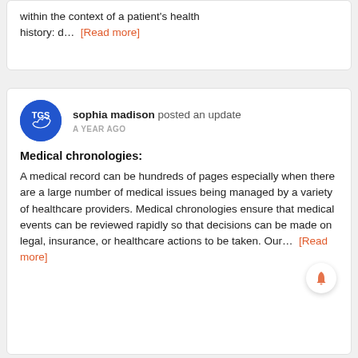within the context of a patient's health history: d…  [Read more]
[Figure (logo): TGS blue circular logo with white text]
sophia madison posted an update
A YEAR AGO
Medical chronologies:
A medical record can be hundreds of pages especially when there are a large number of medical issues being managed by a variety of healthcare providers. Medical chronologies ensure that medical events can be reviewed rapidly so that decisions can be made on legal, insurance, or healthcare actions to be taken. Our…  [Read more]